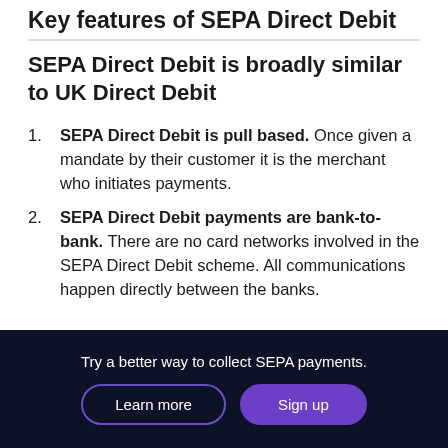Key features of SEPA Direct Debit
SEPA Direct Debit is broadly similar to UK Direct Debit
SEPA Direct Debit is pull based. Once given a mandate by their customer it is the merchant who initiates payments.
SEPA Direct Debit payments are bank-to-bank. There are no card networks involved in the SEPA Direct Debit scheme. All communications happen directly between the banks.
Try a better way to collect SEPA payments.
Learn more
Sign up